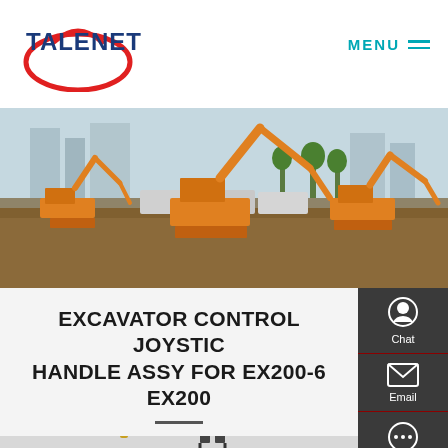TALENET
[Figure (logo): TALENET logo with red oval graphic and blue text]
[Figure (photo): Construction site with multiple orange excavators working on earthmoving]
EXCAVATOR CONTROL JOYSTICK HANDLE ASSY FOR EX200-6 EX200
[Figure (photo): Yellow excavator joystick handle assembly product photo]